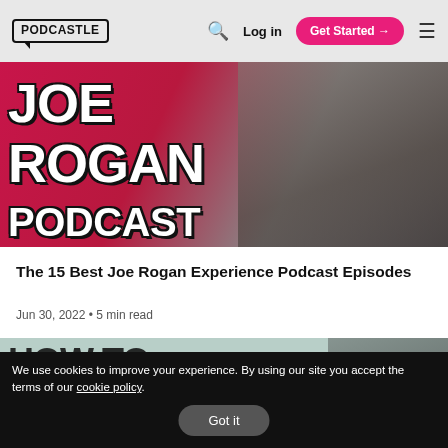PODCASTLE | Log in | Get Started
[Figure (photo): Joe Rogan Experience podcast banner with large white bold text reading JOE ROGAN PODCAST on a red/pink background with a person holding a microphone]
The 15 Best Joe Rogan Experience Podcast Episodes
Jun 30, 2022 • 5 min read
[Figure (photo): HOW TO START A podcast blog article thumbnail with dark text on light background]
We use cookies to improve your experience. By using our site you accept the terms of our cookie policy. Got it